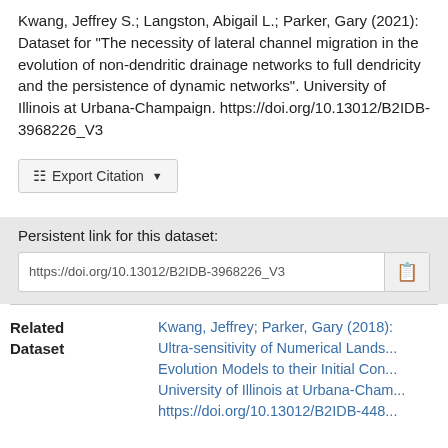Kwang, Jeffrey S.; Langston, Abigail L.; Parker, Gary (2021): Dataset for "The necessity of lateral channel migration in the evolution of non-dendritic drainage networks to full dendricity and the persistence of dynamic networks". University of Illinois at Urbana-Champaign. https://doi.org/10.13012/B2IDB-3968226_V3
Export Citation ▾
Persistent link for this dataset:
https://doi.org/10.13012/B2IDB-3968226_V3
Related Dataset
Kwang, Jeffrey; Parker, Gary (2018): Ultra-sensitivity of Numerical Landscape Evolution Models to their Initial Conditions. University of Illinois at Urbana-Champaign. https://doi.org/10.13012/B2IDB-448...